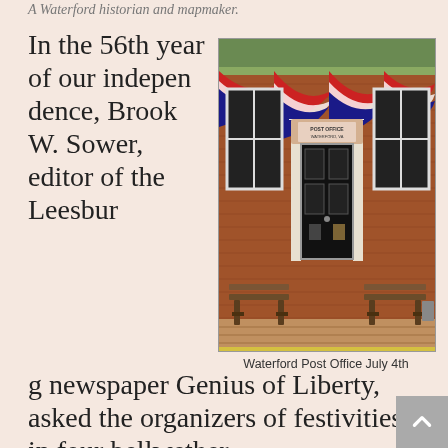A Waterford historian and mapmaker.
In the 56th year of our independence, Brook W. Sower, editor of the Leesburg newspaper Genius of Liberty, asked the organizers of festivities in four bellwether
[Figure (photo): Waterford Post Office building decorated with red, white, and blue bunting for July 4th. Two wooden benches sit on the brick sidewalk in front. A sign reads POST OFFICE WATERFORD VA.]
Waterford Post Office July 4th